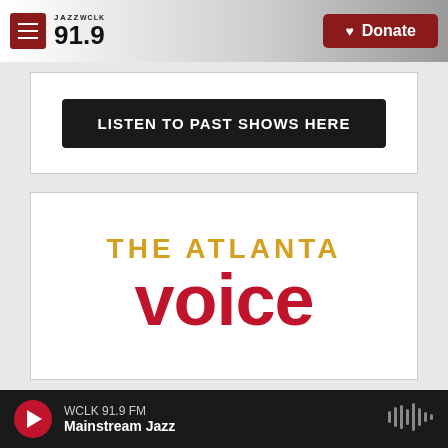JAZZ WCLK 91.9 | Donate
LISTEN TO PAST SHOWS HERE
[Figure (logo): The Atlanta Voice logo — 'THE ATLANTA' in gold uppercase letters, 'voice' in large red lowercase letters]
WCLK 91.9 FM | Mainstream Jazz